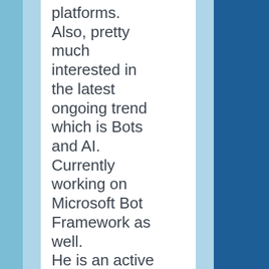platforms. Also, pretty much interested in the latest ongoing trend which is Bots and AI. Currently working on Microsoft Bot Framework as well. He is an active member of the BDotnet(Bangalore .NET) User Group